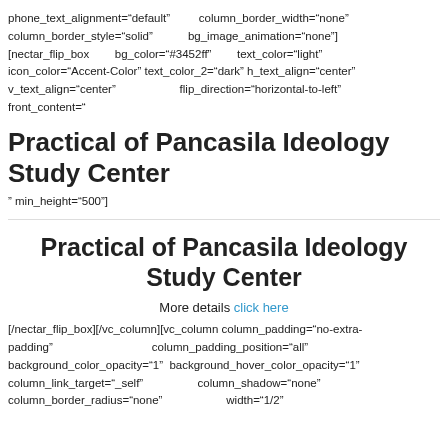phone_text_alignment="default"   column_border_width="none" column_border_style="solid"          bg_image_animation="none"] [nectar_flip_box    bg_color="#3452ff"      text_color="light" icon_color="Accent-Color" text_color_2="dark" h_text_align="center" v_text_align="center"              flip_direction="horizontal-to-left" front_content="
Practical of Pancasila Ideology Study Center
" min_height="500"]
Practical of Pancasila Ideology Study Center
More details click here
[/nectar_flip_box][/vc_column][vc_column column_padding="no-extra-padding"   column_padding_position="all" background_color_opacity="1"  background_hover_color_opacity="1" column_link_target="_self"           column_shadow="none" column_border_radius="none"              width="1/2"